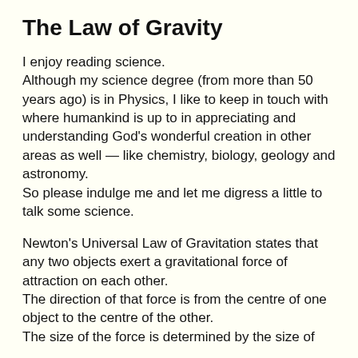The Law of Gravity
I enjoy reading science.
Although my science degree (from more than 50 years ago) is in Physics, I like to keep in touch with where humankind is up to in appreciating and understanding God’s wonderful creation in other areas as well — like chemistry, biology, geology and astronomy.
So please indulge me and let me digress a little to talk some science.
Newton’s Universal Law of Gravitation states that any two objects exert a gravitational force of attraction on each other.
The direction of that force is from the centre of one object to the centre of the other.
The size of the force is determined by the size of